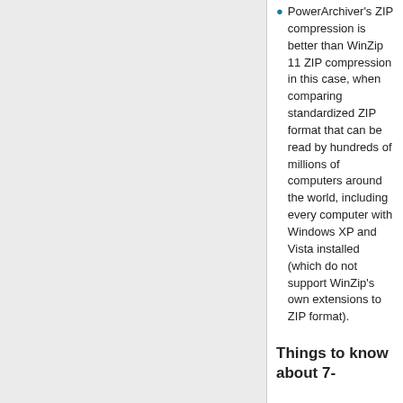PowerArchiver's ZIP compression is better than WinZip 11 ZIP compression in this case, when comparing standardized ZIP format that can be read by hundreds of millions of computers around the world, including every computer with Windows XP and Vista installed (which do not support WinZip's own extensions to ZIP format).
Things to know about 7-